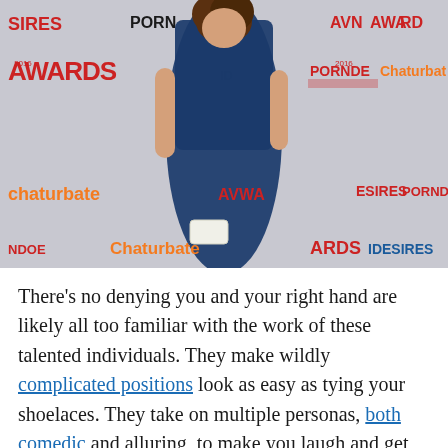[Figure (photo): A woman in a navy blue satin gown posing on a red carpet backdrop with logos including AVN Awards, Pornhub, Chaturbate, iDesires, and other adult entertainment brand logos.]
There's no denying you and your right hand are likely all too familiar with the work of these talented individuals. They make wildly complicated positions look as easy as tying your shoelaces. They take on multiple personas, both comedic and alluring, to make you laugh and get you off. But most importantly, they make a living doing the one thing you wish you